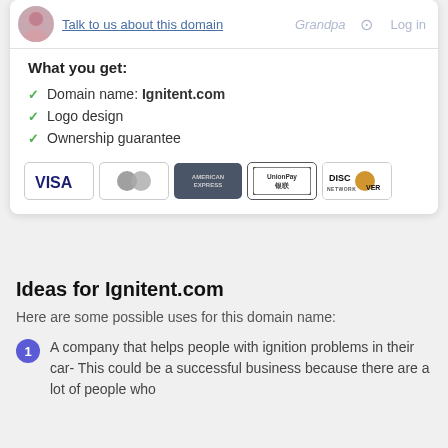Talk to us about this domain
What you get:
Domain name: Ignitent.com
Logo design
Ownership guarantee
[Figure (illustration): Payment method logos: VISA, Mastercard, American Express, UnionPay, Discover Network]
Ideas for Ignitent.com
Here are some possible uses for this domain name:
A company that helps people with ignition problems in their car- This could be a successful business because there are a lot of people who